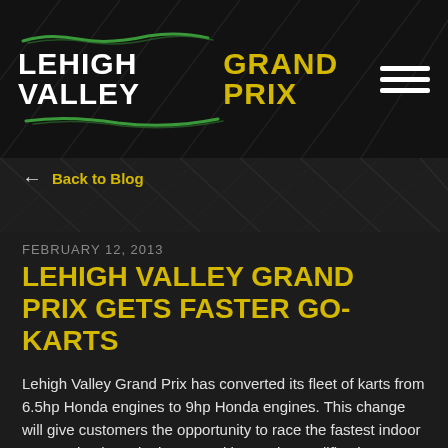LEHIGH VALLEY GRAND PRIX
← Back to Blog
FEBRUARY 12, 2013
LEHIGH VALLEY GRAND PRIX GETS FASTER GO-KARTS
Lehigh Valley Grand Prix has converted its fleet of karts from 6.5hp Honda engines to 9hp Honda engines. This change will give customers the opportunity to race the fastest indoor concession karts in the U.S. with no prior qualifications.
“We are always striving to offer the ultimate racing experience here at LVGP. We felt that the change was neccessary to continue